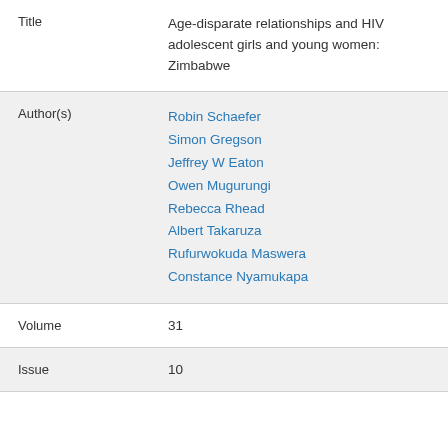| Field | Value |
| --- | --- |
| Title | Age-disparate relationships and HIV adolescent girls and young women: Zimbabwe |
| Author(s) | Robin Schaefer
Simon Gregson
Jeffrey W Eaton
Owen Mugurungi
Rebecca Rhead
Albert Takaruza
Rufurwokuda Maswera
Constance Nyamukapa |
| Volume | 31 |
| Issue | 10 |